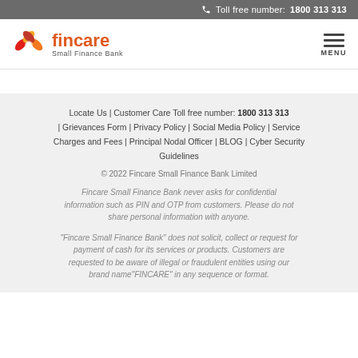Toll free number: 1800 313 313
[Figure (logo): Fincare Small Finance Bank logo — circular red/orange pinwheel icon with 'fincare' in orange text and 'Small Finance Bank' subtitle]
Locate Us | Customer Care Toll free number: 1800 313 313 | Grievances Form | Privacy Policy | Social Media Policy | Service Charges and Fees | Principal Nodal Officer | BLOG | Cyber Security Guidelines
© 2022 Fincare Small Finance Bank Limited
Fincare Small Finance Bank never asks for confidential information such as PIN and OTP from customers. Please do not share personal information with anyone.
"Fincare Small Finance Bank" does not solicit, collect or request for payment of cash for its services or products. Customers are requested to be aware of illegal or fraudulent entities using our brand name"FINCARE" in any sequence or format.